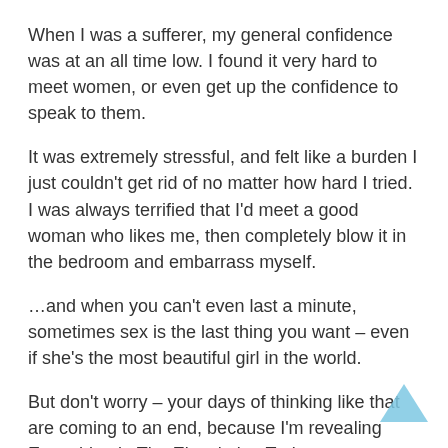When I was a sufferer, my general confidence was at an all time low. I found it very hard to meet women, or even get up the confidence to speak to them.
It was extremely stressful, and felt like a burden I just couldn't get rid of no matter how hard I tried. I was always terrified that I'd meet a good woman who likes me, then completely blow it in the bedroom and embarrass myself.
…and when you can't even last a minute, sometimes sex is the last thing you want – even if she's the most beautiful girl in the world.
But don't worry – your days of thinking like that are coming to an end, because I'm revealing Everything in The Ejaculation Trainer.